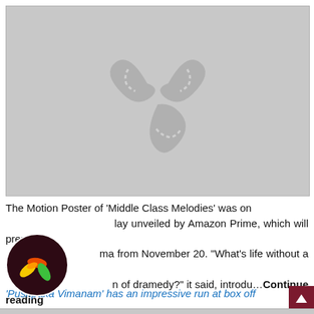[Figure (illustration): Gray placeholder image with a film reel / cinema icon in darker gray in the center]
The Motion Poster of 'Middle Class Melodies' was on Sunday unveiled by Amazon Prime, which will premiere the drama from November 20. "What's life without a tea-spoon of dramedy?" it said, introdu…Continue reading
'Pushpaka Vimanam' has an impressive run at box off